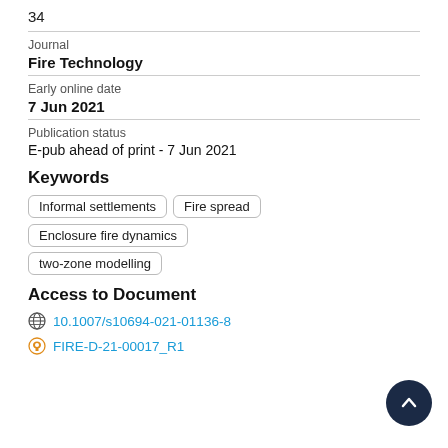34
Journal
Fire Technology
Early online date
7 Jun 2021
Publication status
E-pub ahead of print - 7 Jun 2021
Keywords
Informal settlements
Fire spread
Enclosure fire dynamics
two-zone modelling
Access to Document
10.1007/s10694-021-01136-8
FIRE-D-21-00017_R1